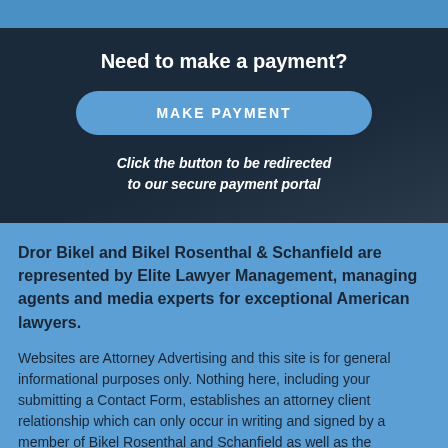Need to make a payment?
MAKE PAYMENT
Click the button to be redirected to our secure payment portal
Dror Bikel and Bikel Rosenthal & Schanfield are represented by Elite Lawyer Management, managing agents and media experts for exceptional American lawyers.
Websites are Attorney Advertising and this site is for general informational purposes only. Nothing here, including your submitting a Contact Form, establishes an attorney client relationship which can only occur in writing and signed by a member of Bikel Rosenthal and Schanfield as well as the prospective client.